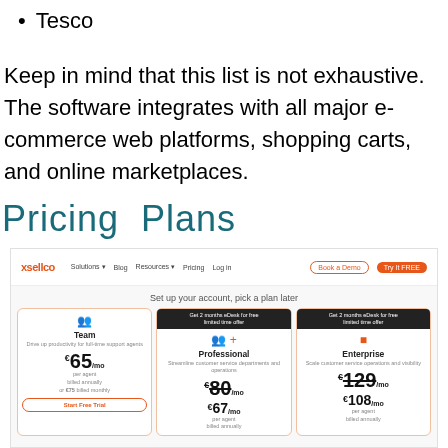Tesco
Keep in mind that this list is not exhaustive. The software integrates with all major e-commerce web platforms, shopping carts, and online marketplaces.
Pricing Plans
[Figure (screenshot): Screenshot of the xsellco pricing page showing three plans: Team (€65/mo), Professional (€80/mo, with €67/mo billed annually), and Enterprise (€129/mo, with €108/mo billed annually). Navigation bar at top with logo, links, and buttons. Subtitle: Set up your account, pick a plan later.]